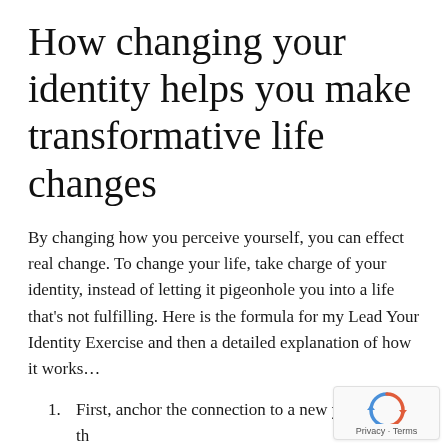How changing your identity helps you make transformative life changes
By changing how you perceive yourself, you can effect real change. To change your life, take charge of your identity, instead of letting it pigeonhole you into a life that's not fulfilling. Here is the formula for my Lead Your Identity Exercise and then a detailed explanation of how it works…
1. First, anchor the connection to a new you th… an image or a metaphor.